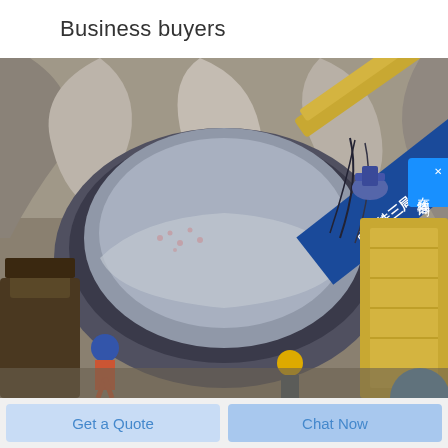Business buyers
[Figure (photo): Industrial tunnel construction scene showing drilling/boring equipment, machinery including a yellow crane/drill arm, workers in hard hats (blue and yellow helmets), rocky tunnel walls, and a blue banner with Chinese characters reading railroad/construction company name. Workers and equipment visible in foreground.]
在线咨询
Get a Quote
Chat Now